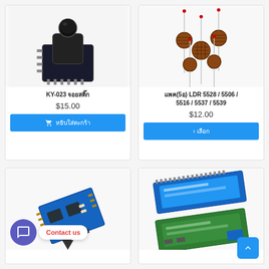[Figure (photo): KY-023 joystick module on a PCB with pins]
KY-023 จอยสติ๊ก
$15.00
🛒 หยิบใส่ตะกร้า
[Figure (photo): LDR photoresistor sensors (5 pieces), models 5528 / 5506 / 5516 / 5537 / 5539]
แพค(5อ) LDR 5528 / 5506 / 5516 / 5537 / 5539
$12.00
> เลือก
[Figure (photo): Small Arduino/electronics module board at an angle]
[Figure (photo): LCD 1602 display module, blue and green versions]
Contact us